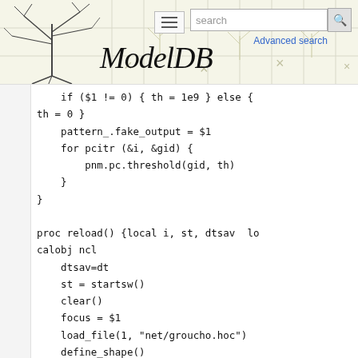[Figure (screenshot): ModelDB website header with neuron tree logo, hamburger menu, search bar, Advanced search link, and ModelDB italic title]
if ($1 != 0) { th = 1e9 } else {
th = 0 }
    pattern_.fake_output = $1
    for pcitr (&i, &gid) {
        pnm.pc.threshold(gid, th)
    }
}

proc reload() {local i, st, dtsav  lo
calobj ncl
    dtsav=dt
    st = startsw()
    clear()
    focus = $1
    load_file(1, "net/groucho.hoc")
    define_shape()
    want_all_spikes()
    mkhist(50)

    if (pc.id == 0) fihprog_ = new FI